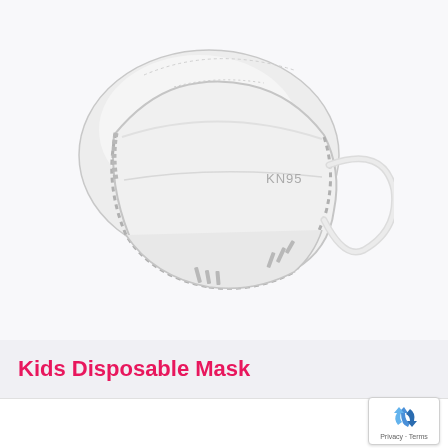[Figure (photo): A white KN95 disposable face mask shown from the front-side angle, with ear loop straps, on a light gray/white background. The mask has 'KN95' printed on it and shows characteristic folded cup shape with stitched edges.]
Kids Disposable Mask
[Figure (logo): Google reCAPTCHA badge with recycling-arrow logo icon in blue, and 'Privacy · Terms' text below]